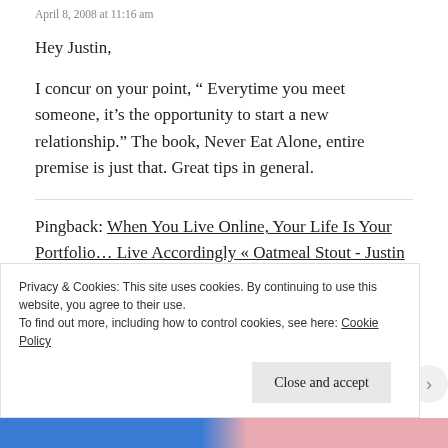April 8, 2008 at 11:16 am
Hey Justin,
I concur on your point, “ Everytime you meet someone, it’s the opportunity to start a new relationship.” The book, Never Eat Alone, entire premise is just that. Great tips in general.
Pingback: When You Live Online, Your Life Is Your Portfolio... Live Accordingly « Oatmeal Stout - Justin Thorp’s Web 2.0 blog
Privacy & Cookies: This site uses cookies. By continuing to use this website, you agree to their use.
To find out more, including how to control cookies, see here: Cookie Policy
Close and accept